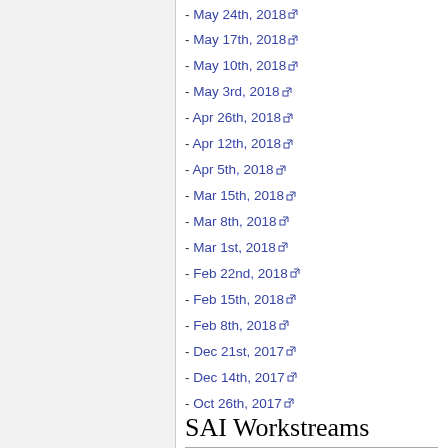- May 24th, 2018
- May 17th, 2018
- May 10th, 2018
- May 3rd, 2018
- Apr 26th, 2018
- Apr 12th, 2018
- Apr 5th, 2018
- Mar 15th, 2018
- Mar 8th, 2018
- Mar 1st, 2018
- Feb 22nd, 2018
- Feb 15th, 2018
- Feb 8th, 2018
- Dec 21st, 2017
- Dec 14th, 2017
- Oct 26th, 2017
SAI Workstreams